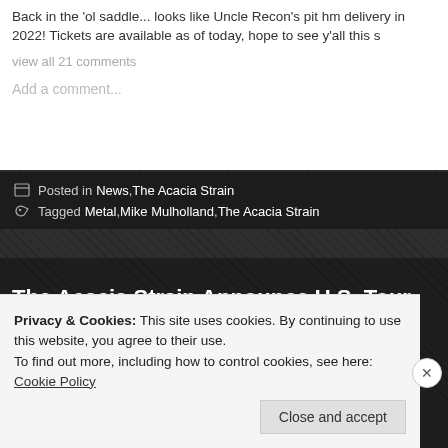Back in the 'ol saddle... looks like Uncle Recon's pit hm delivery in 2022! Tickets are available as of today, hope to see y'all this s
view all 21 comments
Add a comment...
Posted in News, The Acacia Strain
Tagged Metal, Mike Mulholland, The Acacia Strain
The Acacia Strain Announce U.S. Tour With Malevolence, 156/Silence
Posted by caemanamelio on April 18, 2022
Privacy & Cookies: This site uses cookies. By continuing to use this website, you agree to their use.
To find out more, including how to control cookies, see here: Cookie Policy
Close and accept